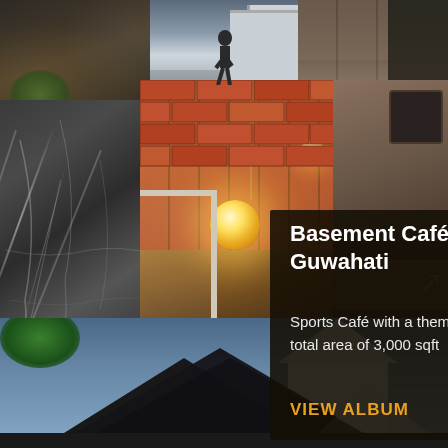[Figure (photo): Collage of construction site exterior photos at top — street scene with buildings under construction, person walking on street]
[Figure (photo): Sports café interior with brick wall, globe pendant lights, bar stools with orange seats. Dark marble panel on the left. Right side shows café counter area. Bottom shows exterior roofline with blue sky.]
Basement Café, Guwahati
Sports Café with a themed concept, with a total area of 3,000 sqft
VIEW ALBUM